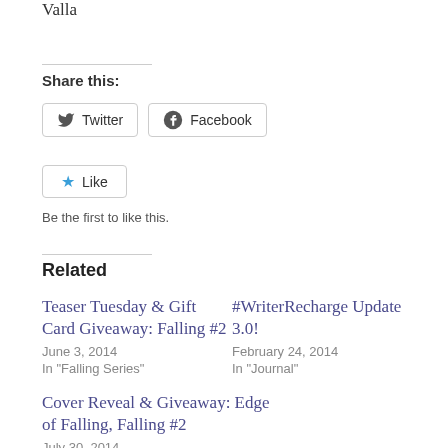Valla
Share this:
Twitter  Facebook
Like
Be the first to like this.
Related
Teaser Tuesday & Gift Card Giveaway: Falling #2
June 3, 2014
In "Falling Series"
#WriterRecharge Update 3.0!
February 24, 2014
In "Journal"
Cover Reveal & Giveaway: Edge of Falling, Falling #2
July 30, 2014